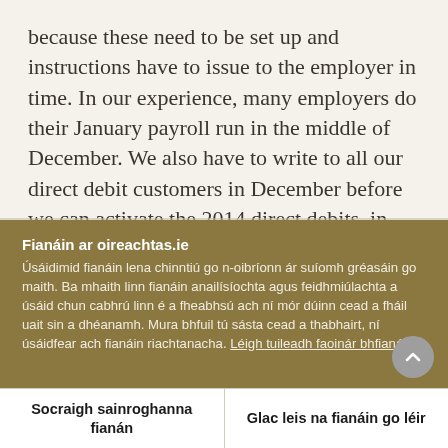because these need to be set up and instructions have to issue to the employer in time. In our experience, many employers do their January payroll run in the middle of December. We also have to write to all our direct debit customers in December before we can activate the 2014 direct debits, in accordance with the rules governing direct debits.
Fianáin ar oireachtas.ie
Úsáidimid fianáin lena chinntiú go n-oibríonn ár suíomh gréasáin go maith. Ba mhaith linn fianáin anailísíochta agus feidhmiúlachta a úsáid chun cabhrú linn é a fheabhsú ach ní mór dúinn cead a fháil uait sin a dhéanamh. Mura bhfuil tú sásta cead a thabhairt, ní úsáidfear ach fianáin riachtanacha. Léigh tuileadh faoinár bhfianáin
Socraigh sainroghanna fianán
Glac leis na fianáin go léir